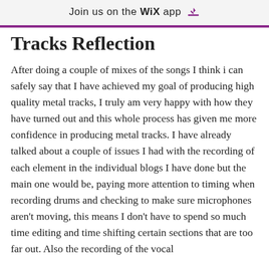Join us on the WiX app
Tracks Reflection
After doing a couple of mixes of the songs I think i can safely say that I have achieved my goal of producing high quality metal tracks, I truly am very happy with how they have turned out and this whole process has given me more confidence in producing metal tracks. I have already talked about a couple of issues I had with the recording of each element in the individual blogs I have done but the main one would be, paying more attention to timing when recording drums and checking to make sure microphones aren't moving, this means I don't have to spend so much time editing and time shifting certain sections that are too far out. Also the recording of the vocal